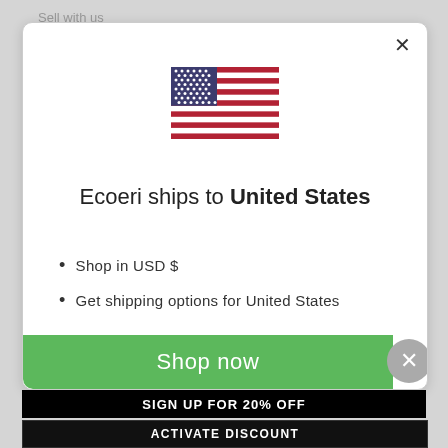Sell with us
[Figure (screenshot): Modal dialog with US flag, shipping info, and Shop now button]
Ecoeri ships to United States
Shop in USD $
Get shipping options for United States
Shop now
SIGN UP FOR 20% OFF
ACTIVATE DISCOUNT